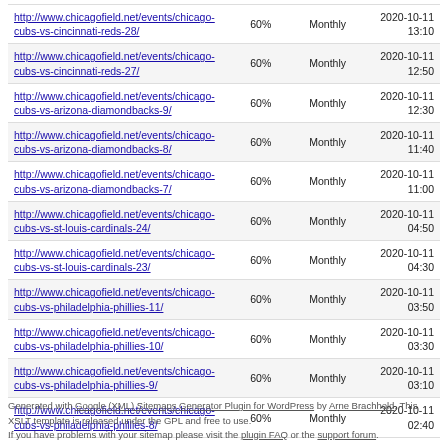| http://www.chicagofield.net/events/chicago-cubs-vs-cincinnati-reds-28/ | 60% | Monthly | 2020-10-11 13:10 |
| http://www.chicagofield.net/events/chicago-cubs-vs-cincinnati-reds-27/ | 60% | Monthly | 2020-10-11 12:50 |
| http://www.chicagofield.net/events/chicago-cubs-vs-arizona-diamondbacks-9/ | 60% | Monthly | 2020-10-11 12:30 |
| http://www.chicagofield.net/events/chicago-cubs-vs-arizona-diamondbacks-8/ | 60% | Monthly | 2020-10-11 11:40 |
| http://www.chicagofield.net/events/chicago-cubs-vs-arizona-diamondbacks-7/ | 60% | Monthly | 2020-10-11 11:00 |
| http://www.chicagofield.net/events/chicago-cubs-vs-st-louis-cardinals-24/ | 60% | Monthly | 2020-10-11 04:50 |
| http://www.chicagofield.net/events/chicago-cubs-vs-st-louis-cardinals-23/ | 60% | Monthly | 2020-10-11 04:30 |
| http://www.chicagofield.net/events/chicago-cubs-vs-philadelphia-phillies-11/ | 60% | Monthly | 2020-10-11 03:50 |
| http://www.chicagofield.net/events/chicago-cubs-vs-philadelphia-phillies-10/ | 60% | Monthly | 2020-10-11 03:30 |
| http://www.chicagofield.net/events/chicago-cubs-vs-philadelphia-phillies-9/ | 60% | Monthly | 2020-10-11 03:10 |
| http://www.chicagofield.net/events/chicago-cubs-vs-philadelphia-phillies-8/ | 60% | Monthly | 2020-10-11 02:40 |
Generated with Google (XML) Sitemaps Generator Plugin for WordPress by Arne Brachhold. This XSLT template is released under the GPL and free to use. If you have problems with your sitemap please visit the plugin FAQ or the support forum.